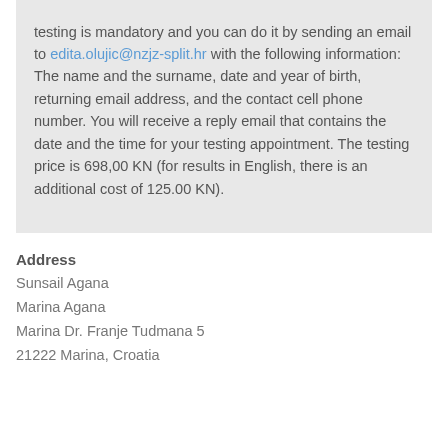testing is mandatory and you can do it by sending an email to edita.olujic@nzjz-split.hr with the following information: The name and the surname, date and year of birth, returning email address, and the contact cell phone number. You will receive a reply email that contains the date and the time for your testing appointment. The testing price is 698,00 KN (for results in English, there is an additional cost of 125.00 KN).
Address
Sunsail Agana
Marina Agana
Marina Dr. Franje Tudmana 5
21222 Marina, Croatia